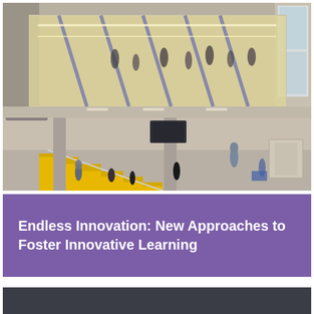[Figure (photo): Interior of a modern educational building atrium showing yellow stadium-style steps where students sit and walk, a glass-walled upper floor with people visible inside, concrete columns, industrial ceiling with exposed ductwork, and natural light from tall windows on the right side.]
Endless Innovation: New Approaches to Foster Innovative Learning
[Figure (photo): Dark gray/charcoal background block, partially visible at bottom of page, likely the top portion of another image below.]